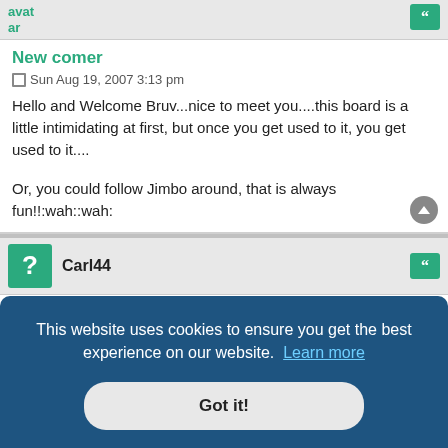avatar
New comer
Sun Aug 19, 2007 3:13 pm
Hello and Welcome Bruv...nice to meet you....this board is a little intimidating at first, but once you get used to it, you get used to it....
Or, you could follow Jimbo around, that is always fun!!:wah::wah:
Carl44
New comer
Sun Aug 19, 2007 3:25 pm
Hello and Welcome Bruv...nice to meet you....this board is a little intimidating at first, but once you get used to it, you get used to it....
This website uses cookies to ensure you get the best experience on our website. Learn more
Got it!